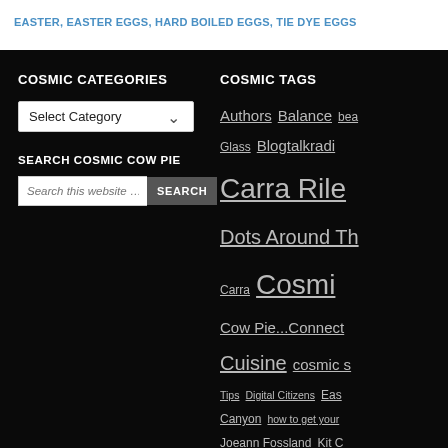EASTER, EASTER EGGS, HARD BOILED EGGS, TIE DYE EGGS
COSMIC CATEGORIES
Select Category (dropdown)
SEARCH COSMIC COW PIE
Search this website … [SEARCH button]
COSMIC TAGS
Authors Balance bea Glass Blogtalkradi Carra Rile Dots Around Th Carra Cosmi Cow Pie...Connect Cuisine cosmic s Tips Digital Citizens Eas Canyon how to get your Joeann Fossland Kit C Photography Photo Pinterest planning Pra estate Sellers SEO se Media Spring 201 Reduction thanksgiving t